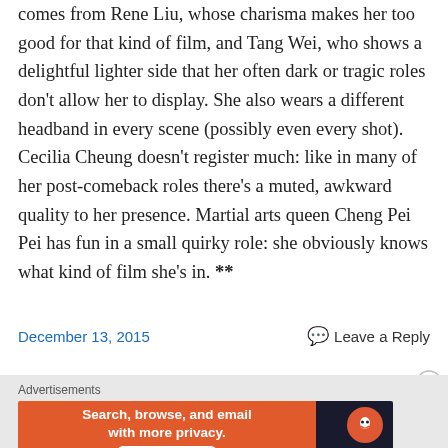comes from Rene Liu, whose charisma makes her too good for that kind of film, and Tang Wei, who shows a delightful lighter side that her often dark or tragic roles don't allow her to display. She also wears a different headband in every scene (possibly even every shot). Cecilia Cheung doesn't register much: like in many of her post-comeback roles there's a muted, awkward quality to her presence. Martial arts queen Cheng Pei Pei has fun in a small quirky role: she obviously knows what kind of film she's in. **
December 13, 2015
Leave a Reply
Advertisements
[Figure (other): DuckDuckGo advertisement banner: orange left section with text 'Search, browse, and email with more privacy. All in One Free App' and dark right section with DuckDuckGo logo and name.]